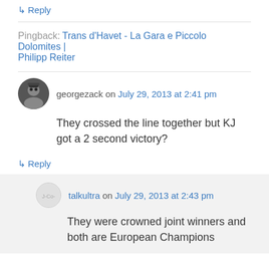↳ Reply
Pingback: Trans d'Havet - La Gara e Piccolo Dolomites | Philipp Reiter
georgezack on July 29, 2013 at 2:41 pm
They crossed the line together but KJ got a 2 second victory?
↳ Reply
talkultra on July 29, 2013 at 2:43 pm
They were crowned joint winners and both are European Champions